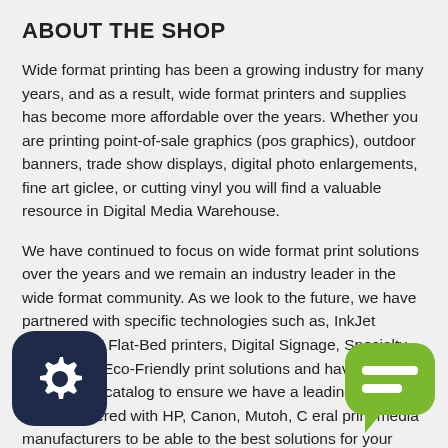ABOUT THE SHOP
Wide format printing has been a growing industry for many years, and as a result, wide format printers and supplies has become more affordable over the years. Whether you are printing point-of-sale graphics (pos graphics), outdoor banners, trade show displays, digital photo enlargements, fine art giclee, or cutting vinyl you will find a valuable resource in Digital Media Warehouse.
We have continued to focus on wide format print solutions over the years and we remain an industry leader in the wide format community. As we look to the future, we have partnered with specific technologies such as, InkJet printers, UV Flat-Bed printers, Digital Signage, Specialty Media, and Eco-Friendly print solutions and have added them to our catalog to ensure we have a leading-edge We have partnered with HP, Canon, Mutoh, C eral print media manufacturers to be able to the best solutions for your printshop. That means when you shop with us you are getting the same standard
[Figure (logo): Dark navy rounded square icon with a gear/settings symbol in white]
[Figure (logo): Green speech bubble / chat icon]